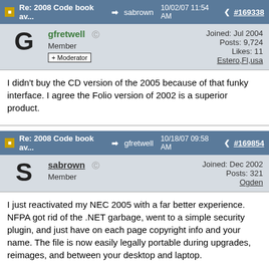Re: 2008 Code book av... sabrown 10/02/07 11:54 AM #169338
gfretwell Offline
Member
+ Moderator
Joined: Jul 2004
Posts: 9,724
Likes: 11
Estero,Fl,usa
I didn't buy the CD version of the 2005 because of that funky interface. I agree the Folio version of 2002 is a superior product.
Re: 2008 Code book av... gfretwell 10/18/07 09:58 AM #169854
sabrown Offline
Member
Joined: Dec 2002
Posts: 321
Ogden
I just reactivated my NEC 2005 with a far better experience. NFPA got rid of the .NET garbage, went to a simple security plugin, and just have on each page copyright info and your name. The file is now easily legally portable during upgrades, reimages, and between your desktop and laptop.
No wifi, desktop should be the time to visit the Folio version of foll...